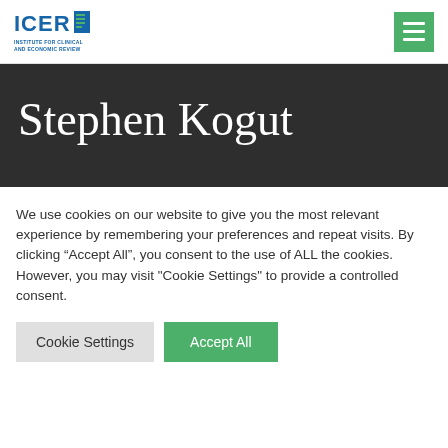ICER — Institute for Clinical and Economic Review
Stephen Kogut
We use cookies on our website to give you the most relevant experience by remembering your preferences and repeat visits. By clicking “Accept All”, you consent to the use of ALL the cookies. However, you may visit "Cookie Settings" to provide a controlled consent.
Cookie Settings
Accept All